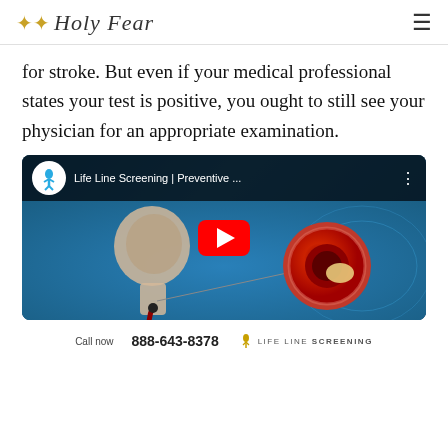Holy Fear
for stroke. But even if your medical professional states your test is positive, you ought to still see your physician for an appropriate examination.
[Figure (screenshot): YouTube video thumbnail for Life Line Screening | Preventive ... showing a medical animation of a human head/neck with blood vessel and a cross-section of an artery with plaque buildup, with a red YouTube play button in the center.]
Call now 888-643-8378 LIFE LINE SCREENING